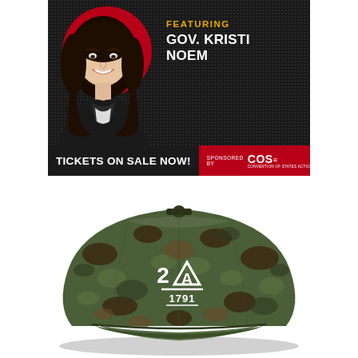[Figure (illustration): Event promotional banner featuring Gov. Kristi Noem. Dark textured background with a red circle behind a photo of the governor on the left. Yellow text 'FEATURING' and white bold text 'GOV. KRISTI NOEM' on the right. Below is a dark bar with white bold text 'TICKETS ON SALE NOW!' and a red section with 'SPONSORED BY COS' logo with American flag stripes.]
[Figure (photo): A camouflage baseball cap (woodland camo pattern in greens and browns) with an embroidered white logo reading '2A' with a triangle/mountain shape and '1791' beneath it.]